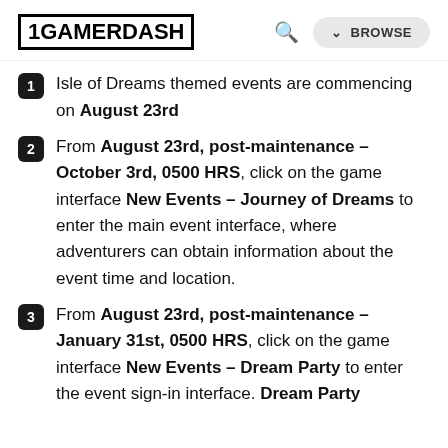1GAMERDASH | BROWSE
Isle of Dreams themed events are commencing on August 23rd
From August 23rd, post-maintenance – October 3rd, 0500 HRS, click on the game interface New Events – Journey of Dreams to enter the main event interface, where adventurers can obtain information about the event time and location.
From August 23rd, post-maintenance – January 31st, 0500 HRS, click on the game interface New Events – Dream Party to enter the event sign-in interface. Dream Party